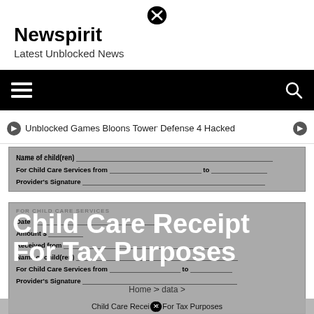[Figure (other): Close button (X in circle) at top center]
Newspirit
Latest Unblocked News
[Figure (other): Black navigation bar with hamburger menu icon on left and search icon on right]
Unblocked Games Bloons Tower Defense 4 Hacked
[Figure (other): Gray child care receipt form (top portion) showing fields: Name of child(ren), For Child Care Services from [date] to [date], Provider's Signature]
[Figure (other): Gray child care receipt form (bottom portion) showing fields: Date, Amount $, Received from, Name of child(ren), For Child Care Services from [date] to [date], Provider's Signature]
Child Care Receipt For Tax Purposes
Home > data >
Child Care Receipt For Tax Purposes